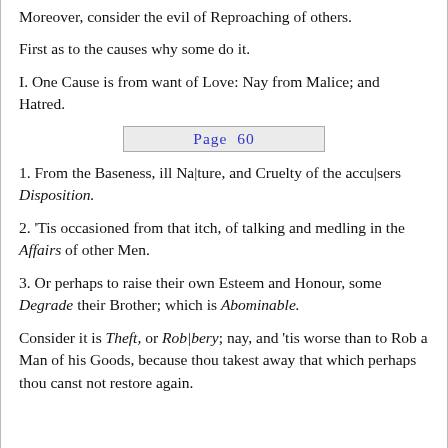Moreover, consider the evil of Reproaching of others.
First as to the causes why some do it.
I. One Cause is from want of Love: Nay from Malice; and Hatred.
Page 60
1. From the Baseness, ill Na|ture, and Cruelty of the accu|sers Disposition.
2. 'Tis occasioned from that itch, of talking and medling in the Affairs of other Men.
3. Or perhaps to raise their own Esteem and Honour, some Degrade their Brother; which is Abominable.
Consider it is Theft, or Rob|bery; nay, and 'tis worse than to Rob a Man of his Goods, because thou takest away that which perhaps thou canst not restore again.